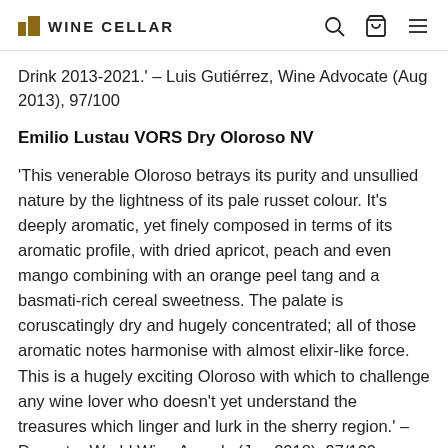WINE CELLAR
Drink 2013-2021.' – Luis Gutiérrez, Wine Advocate (Aug 2013), 97/100
Emilio Lustau VORS Dry Oloroso NV
'This venerable Oloroso betrays its purity and unsullied nature by the lightness of its pale russet colour. It's deeply aromatic, yet finely composed in terms of its aromatic profile, with dried apricot, peach and even mango combining with an orange peel tang and a basmati-rich cereal sweetness. The palate is coruscatingly dry and hugely concentrated; all of those aromatic notes harmonise with almost elixir-like force. This is a hugely exciting Oloroso with which to challenge any wine lover who doesn't yet understand the treasures which linger and lurk in the sherry region.' – Decanter World Wine Awards (Jun 2018), 97/100